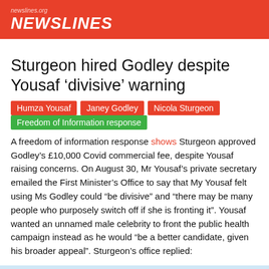NEWSLINES
Sturgeon hired Godley despite Yousaf ‘divisive’ warning
Humza Yousaf
Janey Godley
Nicola Sturgeon
Freedom of Information response
A freedom of information response shows Sturgeon approved Godley’s £10,000 Covid commercial fee, despite Yousaf raising concerns. On August 30, Mr Yousaf’s private secretary emailed the First Minister’s Office to say that My Yousaf felt using Ms Godley could “be divisive” and “there may be many people who purposely switch off if she is fronting it”. Yousaf wanted an unnamed male celebrity to front the public health campaign instead as he would “be a better candidate, given his broader appeal”. Sturgeon’s office replied:
FM (First Minister) is content to clear but agrees with Cab Sec